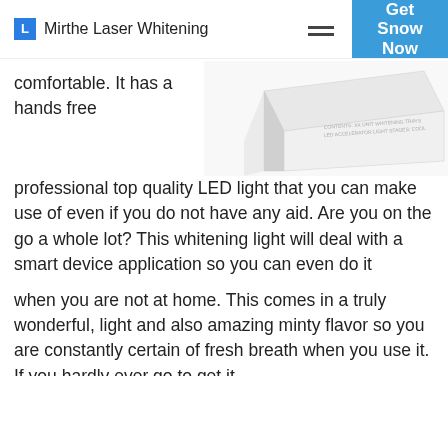Mirthe Laser Whitening | Get Snow Now
[Figure (photo): White product box for a teeth whitening LED accelerator kit, shown at an angle against white background]
comfortable. It has a hands free professional top quality LED light that you can make use of even if you do not have any aid. Are you on the go a whole lot? This whitening light will deal with a smart device application so you can even do it
when you are not at home. This comes in a truly wonderful, light and also amazing minty flavor so you are constantly certain of fresh breath when you use it. If you hardly ever go to get it